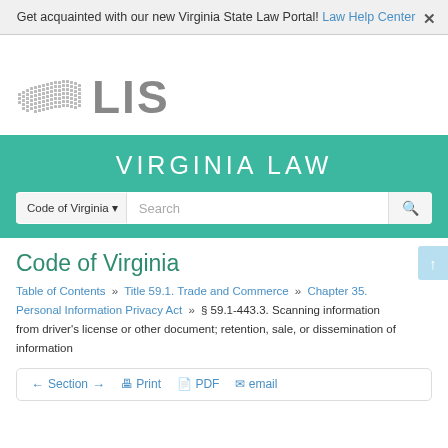Get acquainted with our new Virginia State Law Portal! Law Help Center
[Figure (logo): Virginia LIS logo — stylized Virginia state outline made of dots with 'LIS' text in gray]
VIRGINIA LAW
Code of Virginia (search bar with dropdown)
Code of Virginia
Table of Contents » Title 59.1. Trade and Commerce » Chapter 35. Personal Information Privacy Act » § 59.1-443.3. Scanning information from driver's license or other document; retention, sale, or dissemination of information
← Section → Print PDF email